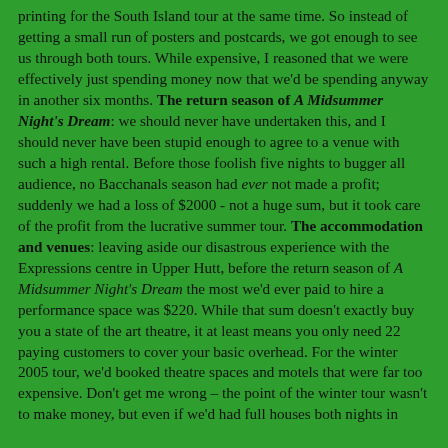printing for the South Island tour at the same time. So instead of getting a small run of posters and postcards, we got enough to see us through both tours. While expensive, I reasoned that we were effectively just spending money now that we'd be spending anyway in another six months. The return season of A Midsummer Night's Dream: we should never have undertaken this, and I should never have been stupid enough to agree to a venue with such a high rental. Before those foolish five nights to bugger all audience, no Bacchanals season had ever not made a profit; suddenly we had a loss of $2000 - not a huge sum, but it took care of the profit from the lucrative summer tour. The accommodation and venues: leaving aside our disastrous experience with the Expressions centre in Upper Hutt, before the return season of A Midsummer Night's Dream the most we'd ever paid to hire a performance space was $220. While that sum doesn't exactly buy you a state of the art theatre, it at least means you only need 22 paying customers to cover your basic overhead. For the winter 2005 tour, we'd booked theatre spaces and motels that were far too expensive. Don't get me wrong – the point of the winter tour wasn't to make money, but even if we'd had full houses both nights in